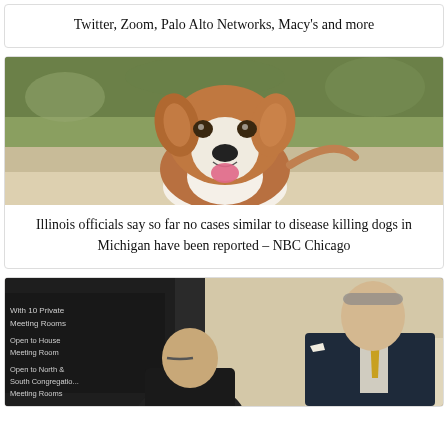Twitter, Zoom, Palo Alto Networks, Macy's and more
[Figure (photo): Close-up photo of a brown and white dog (Jack Russell Terrier mix) looking at the camera with mouth open, outdoors with blurred green background]
Illinois officials say so far no cases similar to disease killing dogs in Michigan have been reported – NBC Chicago
[Figure (photo): Two men in a hallway or lobby setting; one man facing away wearing glasses and dark clothes, the other an older man in a dark suit with a yellow patterned tie and white pocket square, looking down]